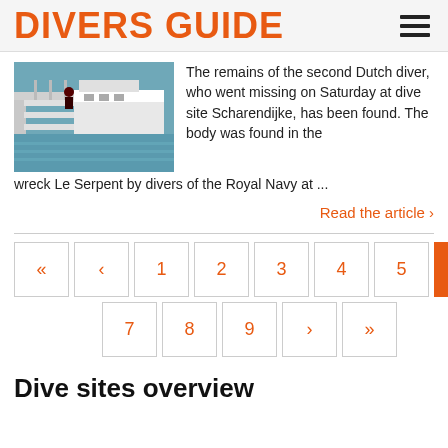DIVERS GUIDE
[Figure (photo): A boat docked at a marina with blue-green water visible]
The remains of the second Dutch diver, who went missing on Saturday at dive site Scharendijke, has been found. The body was found in the wreck Le Serpent by divers of the Royal Navy at ...
Read the article ›
« ‹ 1 2 3 4 5 6 7 8 9 › »
Dive sites overview